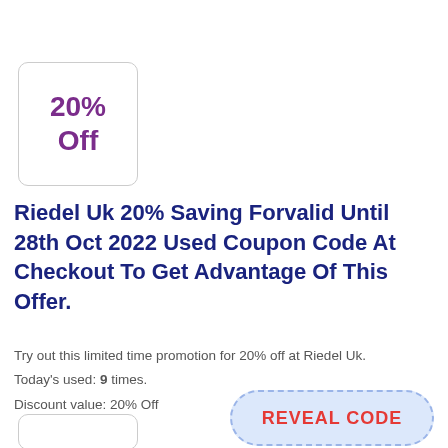[Figure (other): Coupon badge box showing '20% Off' in purple bold text with rounded border]
Riedel Uk 20% Saving Forvalid Until 28th Oct 2022 Used Coupon Code At Checkout To Get Advantage Of This Offer.
Try out this limited time promotion for 20% off at Riedel Uk.
Today's used: 9 times.
Discount value: 20% Off
[Figure (other): REVEAL CODE button with dashed blue border and light blue background, red bold text]